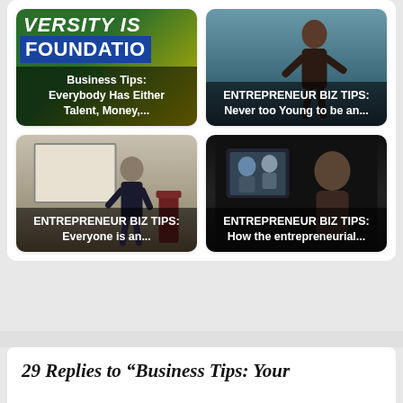[Figure (screenshot): Video thumbnail grid with 4 video cards. Top-left: colorful background with text 'VERSITY IS FOUNDATIO' and 'SUCCESS', overlaid caption 'Business Tips: Everybody Has Either Talent, Money,...'. Top-right: woman presenter on stage, caption 'ENTREPRENEUR BIZ TIPS: Never too Young to be an...'. Bottom-left: man giving lecture at whiteboard, caption 'ENTREPRENEUR BIZ TIPS: Everyone is an...'. Bottom-right: two men in dark scene, caption 'ENTREPRENEUR BIZ TIPS: How the entrepreneurial...']
29 Replies to “Business Tips: Your